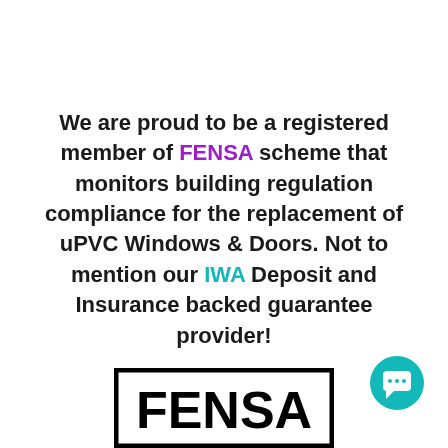We are proud to be a registered member of FENSA scheme that monitors building regulation compliance for the replacement of uPVC Windows & Doors. Not to mention our IWA Deposit and Insurance backed guarantee provider!
[Figure (logo): FENSA logo — black bordered rectangle with bold black FENSA text]